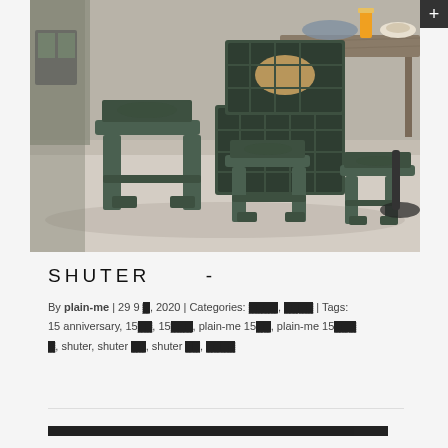[Figure (photo): Outdoor scene with multiple green plastic stools of different sizes arranged on sandy ground, with dark green plastic crates stacked in background, and a rustic wooden table with a glass of orange juice and plate in background.]
SHUTER  -
By plain-me | 29 9 ▓, 2020 | Categories: ▓▓▓▓, ▓▓▓▓ | Tags: 15 anniversary, 15▓▓, 15▓▓▓, plain-me 15▓▓, plain-me 15▓▓▓, shuter, shuter ▓▓, shuter ▓▓, ▓▓▓▓
▓▓▓▓▓▓▓▓▓▓▓▓▓▓▓▓▓▓▓▓▓▓▓▓▓▓▓▓▓▓▓▓